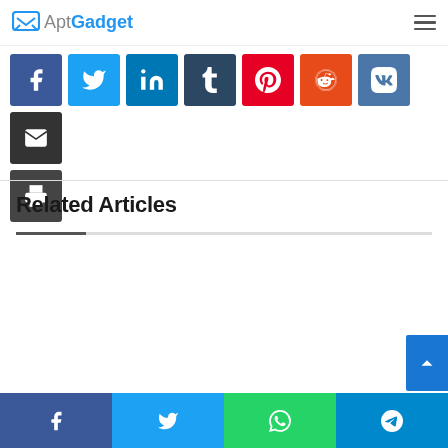AptGadget
[Figure (screenshot): Row of social media share buttons: Facebook (blue), Twitter (light blue), LinkedIn (dark blue), Tumblr (dark navy), Pinterest (red), Reddit (orange-red), VK (steel blue), Email (dark gray), Print (dark gray)]
Related Articles
[Figure (screenshot): Scroll-to-top button (blue) with upward chevron arrow on right edge]
[Figure (screenshot): Bottom share bar with four buttons: Facebook, Twitter, WhatsApp (green), Telegram (blue)]